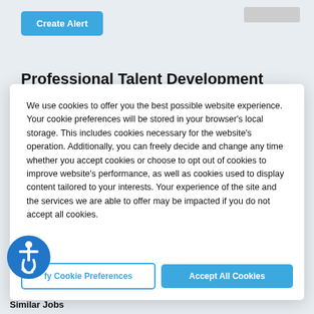[Figure (other): Create Alert button - blue rounded rectangle with white text]
Professional Talent Development
We use cookies to offer you the best possible website experience. Your cookie preferences will be stored in your browser's local storage. This includes cookies necessary for the website's operation. Additionally, you can freely decide and change any time whether you accept cookies or choose to opt out of cookies to improve website's performance, as well as cookies used to display content tailored to your interests. Your experience of the site and the services we are able to offer may be impacted if you do not accept all cookies.
[Figure (other): Accessibility icon - blue circle with wheelchair user symbol]
fy Cookie Preferences
Accept All Cookies
Similar Jobs